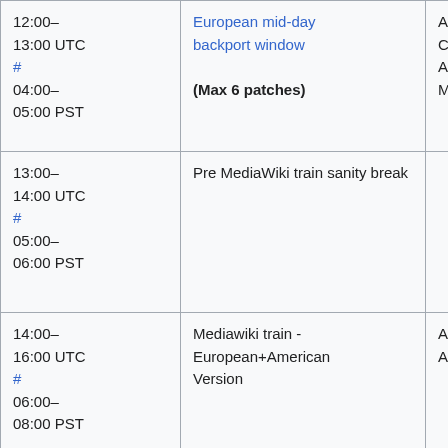| Time | Description | Info |
| --- | --- | --- |
| 12:00–13:00 UTC # 04:00–05:00 PST | European mid-day backport window (Max 6 patches) | A... |
| 13:00–14:00 UTC # 05:00–06:00 PST | Pre MediaWiki train sanity break |  |
| 14:00–16:00 UTC # 06:00–08:00 PST | Mediawiki train - European+American Version | A... A... |
| 17:00–18:00 UTC |  |  |